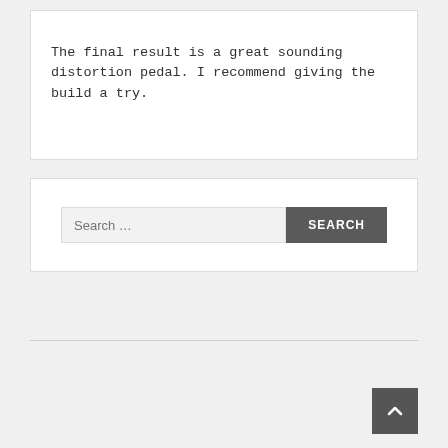The final result is a great sounding distortion pedal. I recommend giving the build a try.
[Figure (other): Search bar with text input labeled 'Search ...' and a dark button labeled 'SEARCH']
[Figure (other): Scroll-to-top button with upward chevron arrow, dark grey square button in bottom right]